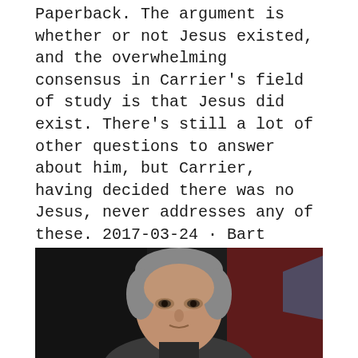Paperback. The argument is whether or not Jesus existed, and the overwhelming consensus in Carrier's field of study is that Jesus did exist. There's still a lot of other questions to answer about him, but Carrier, having decided there was no Jesus, never addresses any of these. 2017-03-24 · Bart Ehrman and Robert Price meet to debate "Did Jesus Exist" which was the headliner event of Mythinformation Conference III Buzzed Belief Debate Series presented by Mythicist Milwaukee at Turner.
[Figure (photo): A man with gray hair looking slightly upward, in front of a dark background with blurred red and blue elements visible.]